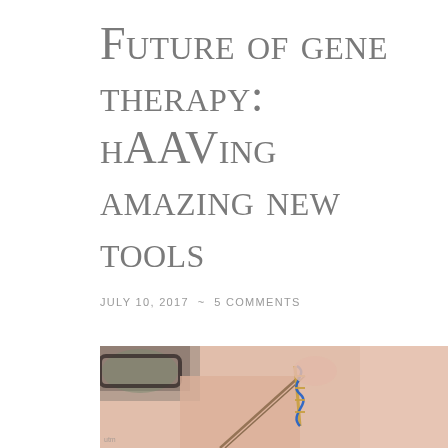Future of gene therapy: hAAVing amazing new tools
JULY 10, 2017 ~ 5 COMMENTS
[Figure (photo): Close-up photo of a researcher holding tweezers grasping a small gold DNA double helix model with a blue strand, blurred face with glasses visible in background]